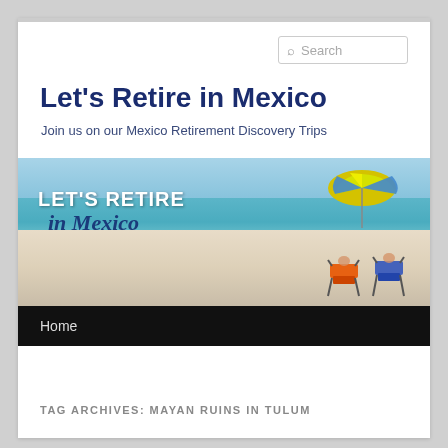Let's Retire in Mexico
Join us on our Mexico Retirement Discovery Trips
[Figure (photo): Banner image of a beach scene with turquoise water, white sand, colorful striped beach chairs, and a yellow umbrella. Text overlay reads 'LET'S RETIRE in Mexico']
TAG ARCHIVES: MAYAN RUINS IN TULUM